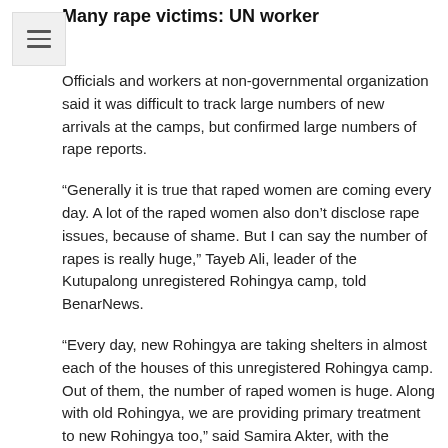Many rape victims: UN worker
Officials and workers at non-governmental organization said it was difficult to track large numbers of new arrivals at the camps, but confirmed large numbers of rape reports.
“Generally it is true that raped women are coming every day. A lot of the raped women also don’t disclose rape issues, because of shame. But I can say the number of rapes is really huge,” Tayeb Ali, leader of the Kutupalong unregistered Rohingya camp, told BenarNews.
“Every day, new Rohingya are taking shelters in almost each of the houses of this unregistered Rohingya camp. Out of them, the number of raped women is huge. Along with old Rohingya, we are providing primary treatment to new Rohingya too,” said Samira Akter, with the medical NGO Bangladesh German Shompreeti (BGS) at Leda camp.
Prior to the influx of Rohingya following the recent violence